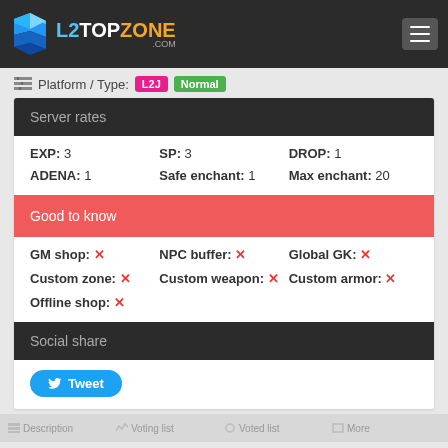L2TOPZONE.COM
Platform / Type: L2J Normal
Server rates
EXP: 3   SP: 3   DROP: 1   ADENA: 1   Safe enchant: 1   Max enchant: 20
Good to know
GM shop: ✗   NPC buffer: ✗   Global GK: ✗   Custom zone: ✗   Custom weapon: ✗   Custom armor: ✗   Offline shop: ✗
Social share
Tweet